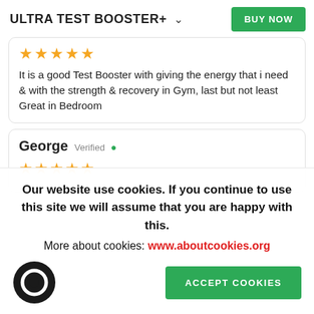ULTRA TEST BOOSTER+  ∨  BUY NOW
★★★★★
It is a good Test Booster with giving the energy that i need & with the strength & recovery in Gym, last but not least Great in Bedroom
George  Verified ✓
★★★★★
Our website use cookies. If you continue to use this site we will assume that you are happy with this.
More about cookies: www.aboutcookies.org
ACCEPT COOKIES